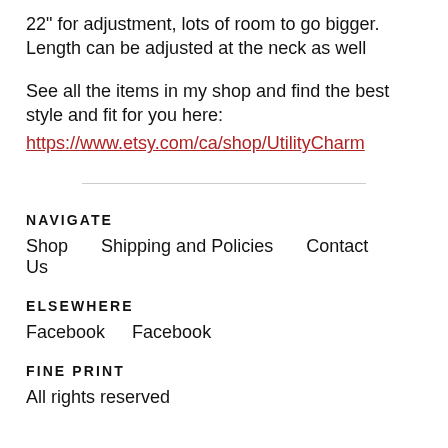22" for adjustment, lots of room to go bigger. Length can be adjusted at the neck as well
See all the items in my shop and find the best style and fit for you here:
https://www.etsy.com/ca/shop/UtilityCharm
NAVIGATE
Shop    Shipping and Policies    Contact Us
ELSEWHERE
Facebook    Facebook
FINE PRINT
All rights reserved